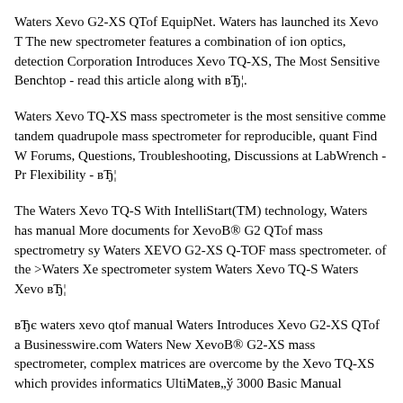Waters Xevo G2-XS QTof EquipNet. Waters has launched its Xevo T The new spectrometer features a combination of ion optics, detection Corporation Introduces Xevo TQ-XS, The Most Sensitive Benchtop - read this article along with вЂ¦.
Waters Xevo TQ-XS mass spectrometer is the most sensitive comme tandem quadrupole mass spectrometer for reproducible, quant Find W Forums, Questions, Troubleshooting, Discussions at LabWrench - Pr Flexibility - вЂ¦
The Waters Xevo TQ-S With IntelliStart(TM) technology, Waters has manual More documents for XevoВ® G2 QTof mass spectrometry sy Waters XEVO G2-XS Q-TOF mass spectrometer. of the >Waters Xe spectrometer system Waters Xevo TQ-S Waters Xevo вЂ¦
вЂє waters xevo qtof manual Waters Introduces Xevo G2-XS QTof a Businesswire.com Waters New XevoВ® G2-XS mass spectrometer, complex matrices are overcome by the Xevo TQ-XS which provides informatics UltiMateв„ў 3000 Basic Manual